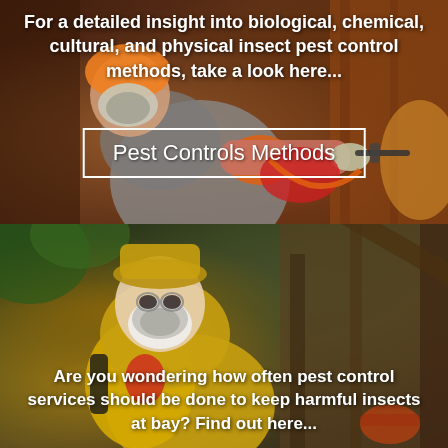[Figure (photo): Top half: photo of a pest control worker in protective gear using a spray tool on a wooden door/surface, with dark reddish-brown background tones.]
For a detailed insight into biological, chemical, cultural, and physical insect pest control methods, take a look here...
Pest Controls Methods
[Figure (photo): Bottom half: photo of a pest control worker in a yellow protective suit and face mask, outdoors, with wooden structure in background.]
Are you wondering how often pest control services should be done to keep harmful insects at bay? Find out here...